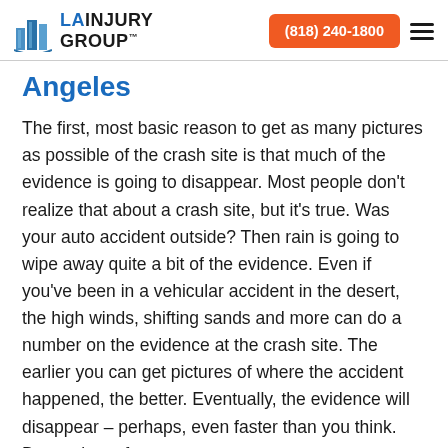LA INJURY GROUP | (818) 240-1800
Angeles
The first, most basic reason to get as many pictures as possible of the crash site is that much of the evidence is going to disappear. Most people don't realize that about a crash site, but it's true. Was your auto accident outside? Then rain is going to wipe away quite a bit of the evidence. Even if you've been in a vehicular accident in the desert, the high winds, shifting sands and more can do a number on the evidence at the crash site. The earlier you can get pictures of where the accident happened, the better. Eventually, the evidence will disappear – perhaps, even faster than you think. Best to be safe,